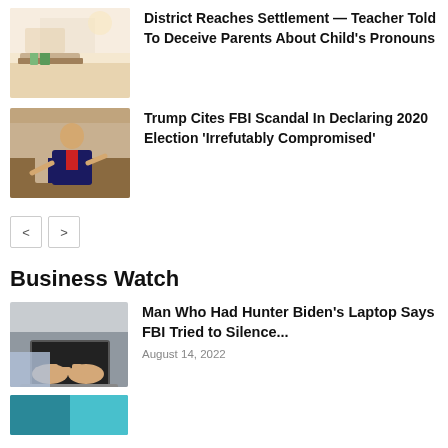[Figure (photo): Classroom with chairs and stacked books on desk]
District Reaches Settlement — Teacher Told To Deceive Parents About Child's Pronouns
[Figure (photo): Man in suit gesturing with hands, speaking]
Trump Cites FBI Scandal In Declaring 2020 Election 'Irrefutably Compromised'
Business Watch
[Figure (photo): Hands typing on laptop keyboard]
Man Who Had Hunter Biden's Laptop Says FBI Tried to Silence...
August 14, 2022
[Figure (photo): Partial thumbnail, teal/blue color visible at bottom]